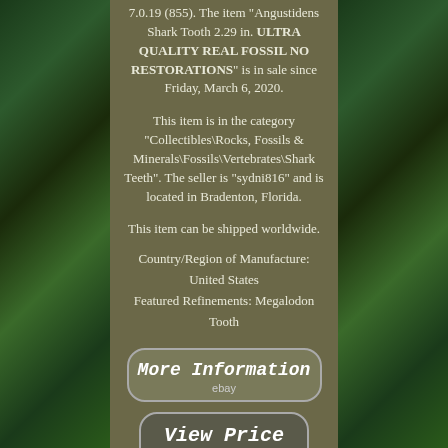[Figure (photo): Left side green/dark plant background photo]
[Figure (photo): Right side green/dark plant background photo]
7.0.19 (855). The item "Angustidens Shark Tooth 2.29 in. ULTRA QUALITY REAL FOSSIL NO RESTORATIONS" is in sale since Friday, March 6, 2020.
This item is in the category "Collectibles\Rocks, Fossils & Minerals\Fossils\Vertebrates\Shark Teeth". The seller is "sydni816" and is located in Bradenton, Florida.
This item can be shipped worldwide.
Country/Region of Manufacture: United States
Featured Refinements: Megalodon Tooth
More Information
ebay
View Price
ebay